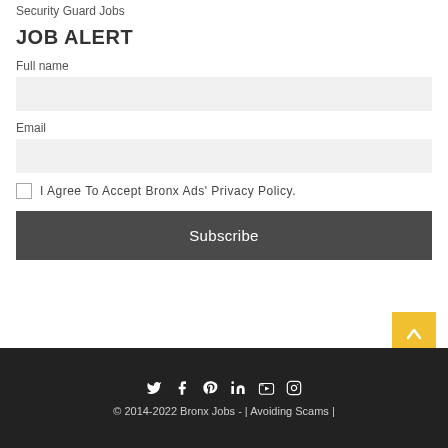Security Guard Jobs
JOB ALERT
Full name
Email
I Agree To Accept Bronx Ads' Privacy Policy.
Subscribe
© 2014-2022 Bronx Jobs - | Avoiding Scams |